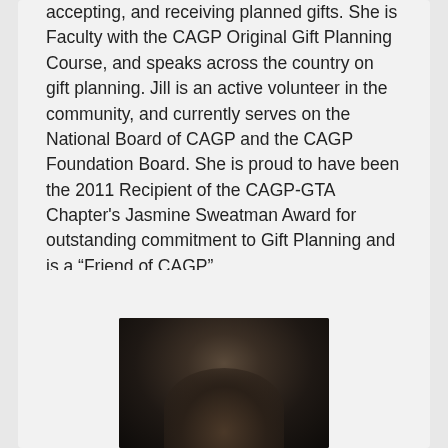accepting, and receiving planned gifts. She is Faculty with the CAGP Original Gift Planning Course, and speaks across the country on gift planning. Jill is an active volunteer in the community, and currently serves on the National Board of CAGP and the CAGP Foundation Board. She is proud to have been the 2011 Recipient of the CAGP-GTA Chapter's Jasmine Sweatman Award for outstanding commitment to Gift Planning and is a “Friend of CAGP”.
[Figure (photo): Portrait photograph of a person against a dark background, showing head and shoulders, bottom portion of card]